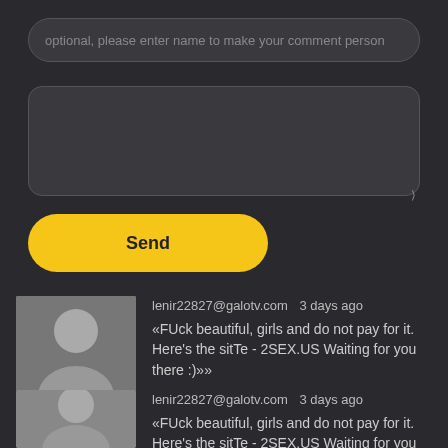[Figure (screenshot): Text input field with placeholder text: optional, please enter name to make your comment person]
[Figure (screenshot): Empty text area input field with resize handle]
Send
lenir22827@galotv.com  3 days ago
«FUck beautiful, girls and do not pay for it. Here's the sitTe - 2SEX.US Waiting for you there :)»»
lenir22827@galotv.com  3 days ago
«FUck beautiful, girls and do not pay for it. Here's the sitTe - 2SEX.US Waiting for you